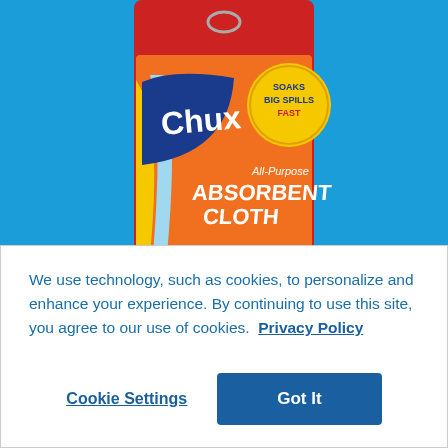[Figure (photo): Chux All-Purpose Absorbent Cloth product package against a blue background. The packaging shows the Chux brand logo in white on dark blue, an orange and yellow package design, and text reading 'All-Purpose Absorbent Cloth' with a badge saying 'Soaks Big Spills Fast'.]
We use technology, such as cookies, to personalize and enhance your experience. By continuing to use this site, you agree to our use of cookies.  Privacy Policy
Cookie Settings
Got It